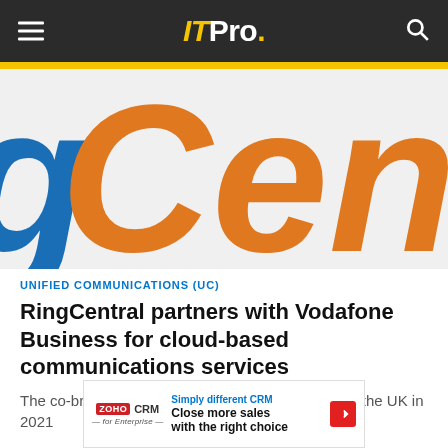ITPro.
[Figure (logo): RingCentral logo zoomed in, showing large orange 'gCen' letters on a light gray background with partial blue letter to the left]
UNIFIED COMMUNICATIONS (UC)
RingCentral partners with Vodafone Business for cloud-based communications services
The co-branded, cloud-based services will arrive in the UK in 2021
[Figure (other): Zoho CRM advertisement banner: 'Simply different CRM – Close more sales with the right choice']